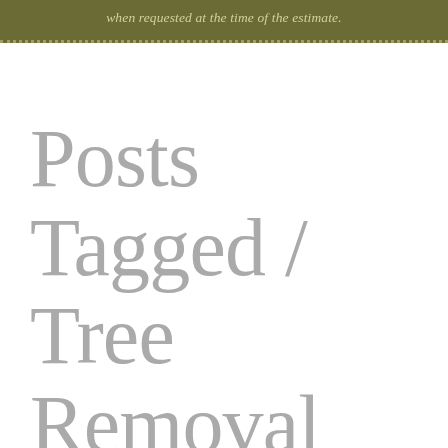when requested at the time of the estimate.
Posts Tagged / Tree Removal Bethany